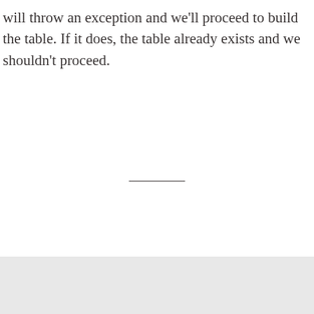will throw an exception and we'll proceed to build the table. If it does, the table already exists and we shouldn't proceed.